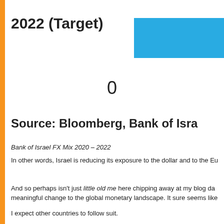2022 (Target)
[Figure (other): Blue horizontal bar representing 2022 target value]
0
Source: Bloomberg, Bank of Israel
Bank of Israel FX Mix 2020 – 2022
In other words, Israel is reducing its exposure to the dollar and to the Eu
And so perhaps isn't just little old me here chipping away at my blog da meaningful change to the global monetary landscape. It sure seems like
I expect other countries to follow suit.